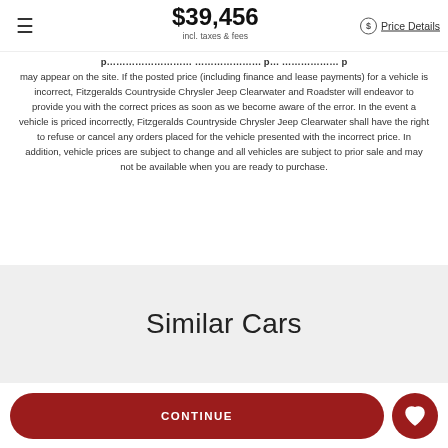$39,456 incl. taxes & fees | Price Details
may appear on the site. If the posted price (including finance and lease payments) for a vehicle is incorrect, Fitzgeralds Countryside Chrysler Jeep Clearwater and Roadster will endeavor to provide you with the correct prices as soon as we become aware of the error. In the event a vehicle is priced incorrectly, Fitzgeralds Countryside Chrysler Jeep Clearwater shall have the right to refuse or cancel any orders placed for the vehicle presented with the incorrect price. In addition, vehicle prices are subject to change and all vehicles are subject to prior sale and may not be available when you are ready to purchase.
Similar Cars
CONTINUE